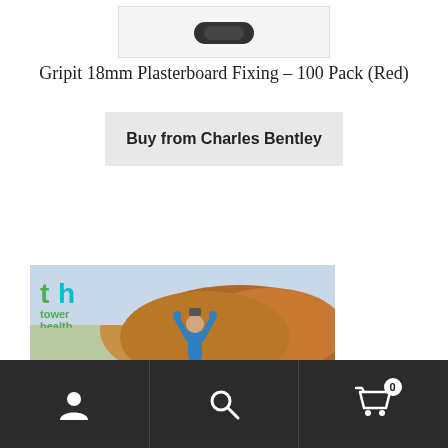[Figure (photo): Partial product image of Gripit 18mm Plasterboard Fixing at top of page, cropped]
Gripit 18mm Plasterboard Fixing – 100 Pack (Red)
Buy from Charles Bentley
[Figure (photo): Tower Health advertisement banner showing a person in a blue jacket stretching arms overhead in an outdoor autumn landscape, with Tower Health logo and text 'life just gets better']
Navigation bar with user icon, search icon, and cart icon (0 items)